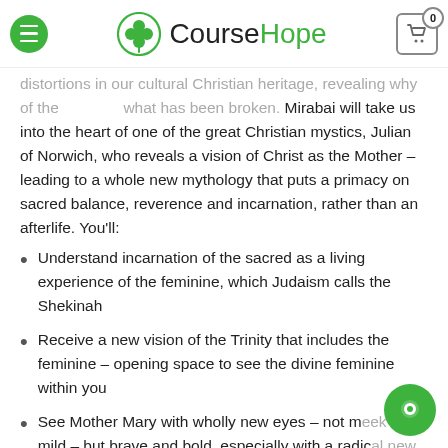CourseHope
distortions in our cultural Christian heritage, revealing why of the ... what has been broken. Mirabai will take us into the heart of one of the great Christian mystics, Julian of Norwich, who reveals a vision of Christ as the Mother – leading to a whole new mythology that puts a primacy on sacred balance, reverence and incarnation, rather than an afterlife. You'll:
Understand incarnation of the sacred as a living experience of the feminine, which Judaism calls the Shekinah
Receive a new vision of the Trinity that includes the feminine – opening space to see the divine feminine within you
See Mother Mary with wholly new eyes – not meek and mild – but brave and bold, especially with a radical new understanding of her Annunciation